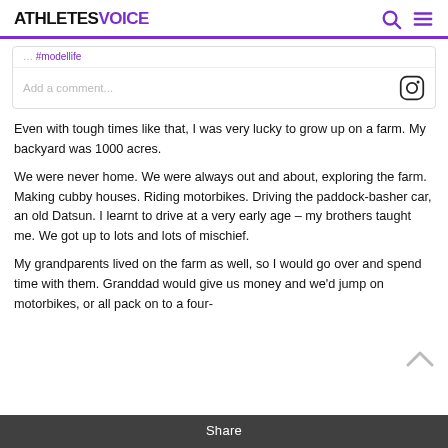ATHLETES VOICE
#modellife
Add a comment...
Even with tough times like that, I was very lucky to grow up on a farm. My backyard was 1000 acres.
We were never home. We were always out and about, exploring the farm. Making cubby houses. Riding motorbikes. Driving the paddock-basher car, an old Datsun. I learnt to drive at a very early age – my brothers taught me. We got up to lots and lots of mischief.
My grandparents lived on the farm as well, so I would go over and spend time with them. Granddad would give us money and we'd jump on motorbikes, or all pack on to a four-
Share